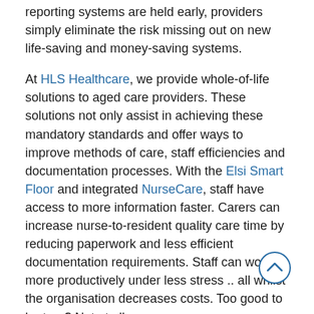reporting systems are held early, providers simply eliminate the risk missing out on new life-saving and money-saving systems.
At HLS Healthcare, we provide whole-of-life solutions to aged care providers. These solutions not only assist in achieving these mandatory standards and offer ways to improve methods of care, staff efficiencies and documentation processes. With the Elsi Smart Floor and integrated NurseCare, staff have access to more information faster. Carers can increase nurse-to-resident quality care time by reducing paperwork and less efficient documentation requirements. Staff can work more productively under less stress .. all whilst the organisation decreases costs. Too good to be true? Not at all.
So what do the Quality Standards say?
Standard 1 refers to Privacy and dignity for the residents. This is one of the most important standards. Families want to make sure their loved ones are looked after with the best possible care in their